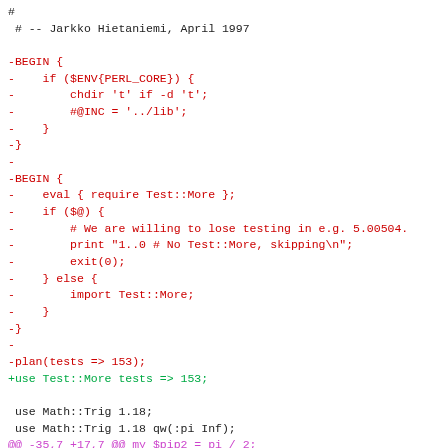# -- Jarkko Hietaniemi, April 1997
-BEGIN {
-    if ($ENV{PERL_CORE}) {
-        chdir 't' if -d 't';
-        #@INC = '../lib';
-    }
-}
-
-BEGIN {
-    eval { require Test::More };
-    if ($@) {
-        # We are willing to lose testing in e.g. 5.00504.
-        print "1..0 # No Test::More, skipping\n";
-        exit(0);
-    } else {
-        import Test::More;
-    }
-}
-
-plan(tests => 153);
+use Test::More tests => 153;
 use Math::Trig 1.18;
 use Math::Trig 1.18 qw(:pi Inf);
@@ -35,7 +17,7 @@ my $pip2 = pi / 2;
 use strict;
-use vars qw($x $y $z);
+our($x, $y, $z);